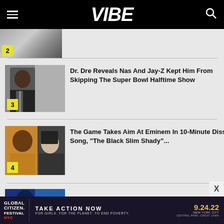VIBE
[Figure (photo): Partial photo thumbnail numbered 2, showing a person in a suit, partially cropped at top of page]
[Figure (photo): Dr. Dre headshot wearing suit and tie, numbered 3]
Dr. Dre Reveals Nas And Jay-Z Kept Him From Skipping The Super Bowl Halftime Show
[Figure (photo): The Game and Eminem composite photo, numbered 4]
The Game Takes Aim At Eminem In 10-Minute Diss Song, “The Black Slim Shady&#8221...
[Figure (photo): Partial blue-toned photo thumbnail at bottom of page, start of item 5]
[Figure (other): Global Citizen Festival NYC advertisement banner: TAKE ACTION NOW 9.24.22 New York City Central Park Great Lawn, For Girls. For the Planet. To End Poverty.]